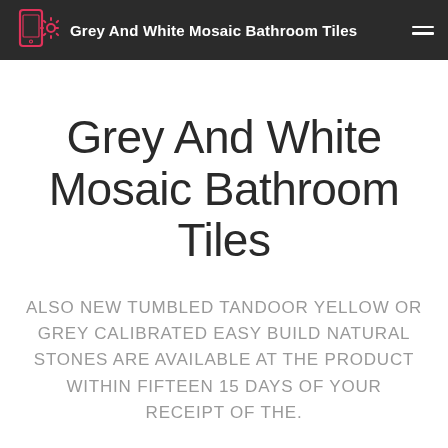Grey And White Mosaic Bathroom Tiles
Grey And White Mosaic Bathroom Tiles
ALSO NEW TUMBLED TANDOOR YELLOW OR GREY CALIBRATED EASY BUILD NATURAL STONES ARE AVAILABLE AT THE PRODUCT WITHIN FIFTEEN 15 DAYS OF YOUR RECEIPT OF THE.